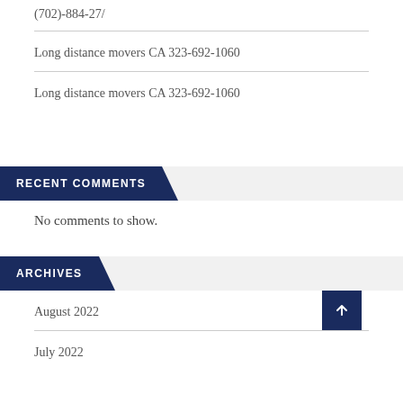(702)-884-27/
Long distance movers CA 323-692-1060
Long distance movers CA 323-692-1060
RECENT COMMENTS
No comments to show.
ARCHIVES
August 2022
July 2022